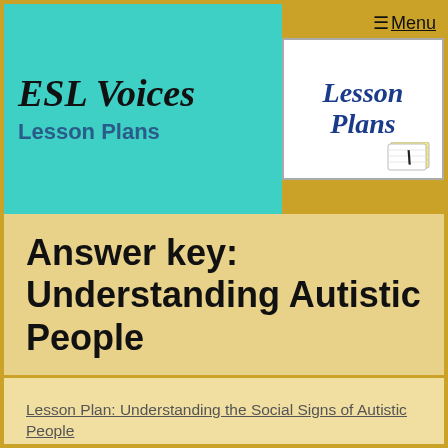ESL Voices Lesson Plans
[Figure (logo): Lesson Plans logo with notepad and pen image]
Menu
Answer key: Understanding Autistic People
Lesson Plan: Understanding the Social Signs of Autistic People
II. While Reading Activities
Word Inference
1. Autistic |ô'tistik| adjective–relating to or affected by autism. autism |'ô,tizəm| noun, a mental condition